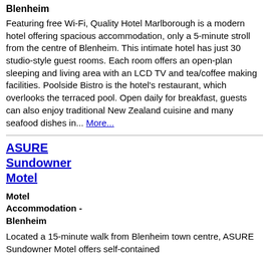Blenheim
Featuring free Wi-Fi, Quality Hotel Marlborough is a modern hotel offering spacious accommodation, only a 5-minute stroll from the centre of Blenheim. This intimate hotel has just 30 studio-style guest rooms. Each room offers an open-plan sleeping and living area with an LCD TV and tea/coffee making facilities. Poolside Bistro is the hotel's restaurant, which overlooks the terraced pool. Open daily for breakfast, guests can also enjoy traditional New Zealand cuisine and many seafood dishes in... More...
ASURE Sundowner Motel
Motel Accommodation - Blenheim
Located a 15-minute walk from Blenheim town centre, ASURE Sundowner Motel offers self-contained